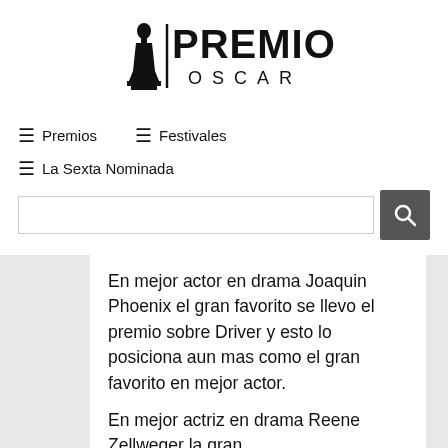[Figure (logo): Premios Oscar logo with Oscar statuette silhouette and text PREMIOS OSCAR]
≡ Premios
≡ Festivales
≡ La Sexta Nominada
En mejor actor en drama Joaquin Phoenix el gran favorito se llevo el premio sobre Driver y esto lo posiciona aun mas como el gran favorito en mejor actor.
En mejor actriz en drama Reene Zellweger la gran